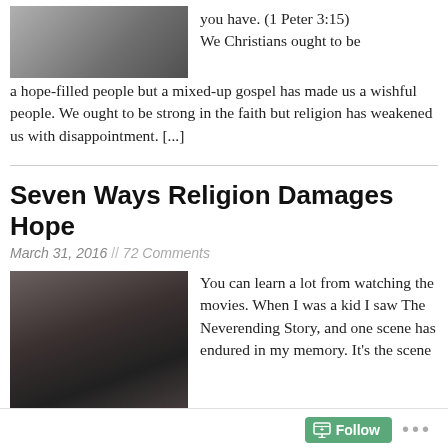[Figure (photo): A photo of a person seen from behind, looking out a window with light coming through blinds.]
you have. (1 Peter 3:15) We Christians ought to be a hope-filled people but a mixed-up gospel has made us a wishful people. We ought to be strong in the faith but religion has weakened us with disappointment. [...]
Seven Ways Religion Damages Hope
March 31, 2016 // 72 Comments
[Figure (photo): A child with long hair in a yellow shirt faces a large dark wolf-like creature with glowing eyes, in a cave or rocky setting. Scene from The Neverending Story.]
You can learn a lot from watching the movies. When I was a kid I saw The Neverending Story, and one scene has endured in my memory. It's the scene where Atreyu is confronted by Gmork, the wolf-like servant of the Nothing. Atreyu asks Gmork why he is helping the Nothing destroy the world and stirring up